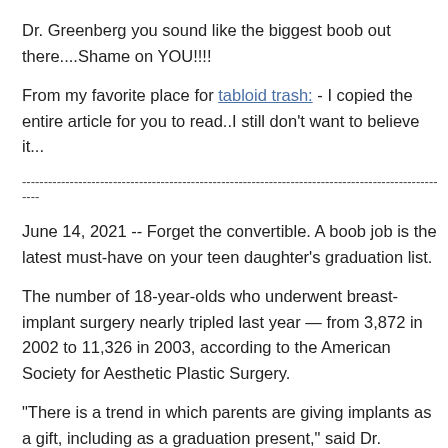Dr. Greenberg you sound like the biggest boob out there....Shame on YOU!!!!
From my favorite place for tabloid trash: - I copied the entire article for you to read..I still don't want to believe it...
----------------------------------------------------------------------------------------------------
June 14, 2021 -- Forget the convertible. A boob job is the latest must-have on your teen daughter's graduation list.
The number of 18-year-olds who underwent breast-implant surgery nearly tripled last year — from 3,872 in 2002 to 11,326 in 2003, according to the American Society for Aesthetic Plastic Surgery.
"There is a trend in which parents are giving implants as a gift, including as a graduation present," said Dr. Stephen Greenberg, who practices in Woodbury, L.I., and Manhattan.
Popular, well-endowed teen idols, like Britney Spears and Lindsay Lohan, as well as reality-TV shows like "Extreme Makeover" and "The